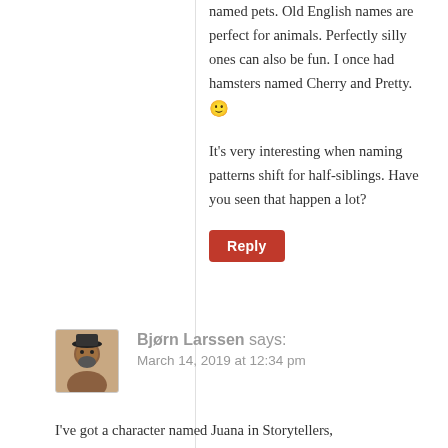named pets. Old English names are perfect for animals. Perfectly silly ones can also be fun. I once had hamsters named Cherry and Pretty. 🙂
It's very interesting when naming patterns shift for half-siblings. Have you seen that happen a lot?
Reply
Bjørn Larssen says:
March 14, 2019 at 12:34 pm
I've got a character named Juana in Storytellers,